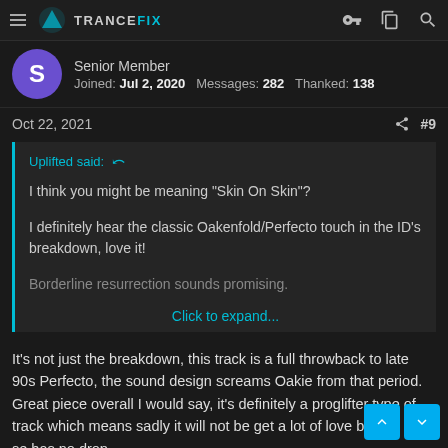TRANCEFIX
Senior Member
Joined: Jul 2, 2020   Messages: 282   Thanked: 138
Oct 22, 2021  #9
Uplifted said:
I think you might be meaning "Skin On Skin"?
I definitely hear the classic Oakenfold/Perfecto touch in the ID's breakdown, love it!
Borderline resurrection sounds promising.
Click to expand...
It's not just the breakdown, this track is a full throwback to late 90s Perfecto, the sound design screams Oakie from that period. Great piece overall I would say, it's definitely a proglifter type of track which means sadly it will not be get a lot of love because it has no drop ...